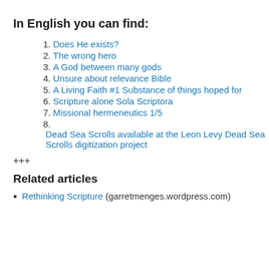In English you can find:
Does He exists?
The wrong hero
A God between many gods
Unsure about relevance Bible
A Living Faith #1 Substance of things hoped for
Scripture alone Sola Scriptora
Missional hermeneutics 1/5
Dead Sea Scrolls available at the Leon Levy Dead Sea Scrolls digitization project
+++
Related articles
Rethinking Scripture (garretmenges.wordpress.com)